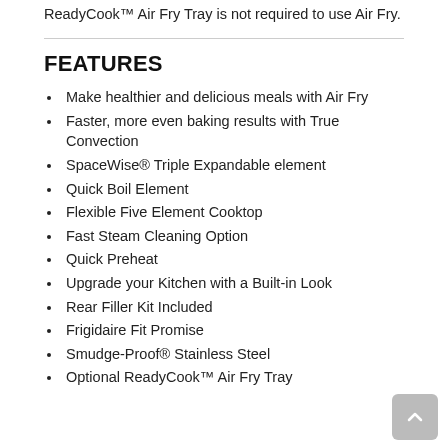ReadyCook™ Air Fry Tray is not required to use Air Fry.
FEATURES
Make healthier and delicious meals with Air Fry
Faster, more even baking results with True Convection
SpaceWise® Triple Expandable element
Quick Boil Element
Flexible Five Element Cooktop
Fast Steam Cleaning Option
Quick Preheat
Upgrade your Kitchen with a Built-in Look
Rear Filler Kit Included
Frigidaire Fit Promise
Smudge-Proof® Stainless Steel
Optional ReadyCook™ Air Fry Tray